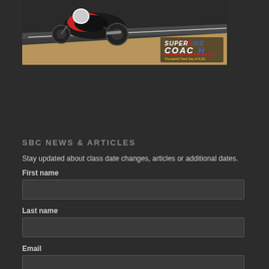[Figure (photo): Motorcycle racer on track at Thunderhill, with Superbike Coach logo overlay in bottom right corner. Dark asphalt track with sandy/dirt runoff area visible.]
SBC NEWS & ARTICLES
Stay updated about class date changes, articles or additional dates.
First name
Last name
Email